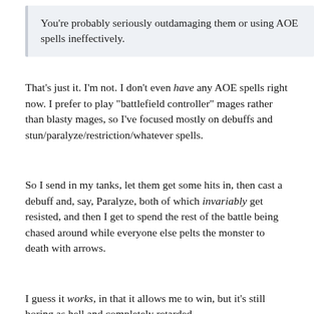You're probably seriously outdamaging them or using AOE spells ineffectively.
That's just it. I'm not. I don't even have any AOE spells right now. I prefer to play "battlefield controller" mages rather than blasty mages, so I've focused mostly on debuffs and stun/paralyze/restriction/whatever spells.
So I send in my tanks, let them get some hits in, then cast a debuff and, say, Paralyze, both of which invariably get resisted, and then I get to spend the rest of the battle being chased around while everyone else pelts the monster to death with arrows.
I guess it works, in that it allows me to win, but it's still boring as hell and completely retarded.
The only spell I have that doesn't get resisted all the time is Crushing Prison, and even then, sometimes it just doesn't do anything. I cast it, it doesn't get resisted, the forcefield effect appears around them...and nothing happens. They can still attack and they don't get locked in place. Which is bullshit. This isn't a JRPG, god damn it. You can't make me work my ass off for some top-of-the-line killer spell and then not